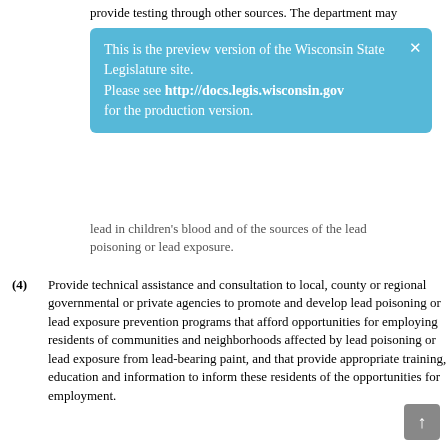provide testing through other sources. The department may
This is the preview version of the Wisconsin State Legislature site. Please see http://docs.legis.wisconsin.gov for the production version.
lead in children's blood and of the sources of the lead poisoning or lead exposure.
(4) Provide technical assistance and consultation to local, county or regional governmental or private agencies to promote and develop lead poisoning or lead exposure prevention programs that afford opportunities for employing residents of communities and neighborhoods affected by lead poisoning or lead exposure from lead-bearing paint, and that provide appropriate training, education and information to inform these residents of the opportunities for employment.
(5) Provide recommendations for the identification and treatment of lead poisoning or lead exposure.
(6) Develop educational programs to communicate to parents, educators and officials of local boards of health the health danger of lead poisoning or lead exposure from lead-bearing paint among children.
History: 1979 c. 221; 1987 a. 399; 1989 a. 31; 1991 a. 39; 1993 a. 16; 1993 a. 27 ss. 434, 435; Stats. 1993 s. 254.15; 1993 a. 183; 1997 450 ss. 21, 43; 1999 a. 113, 186; 2005 a. 25; 2007 a. 91.